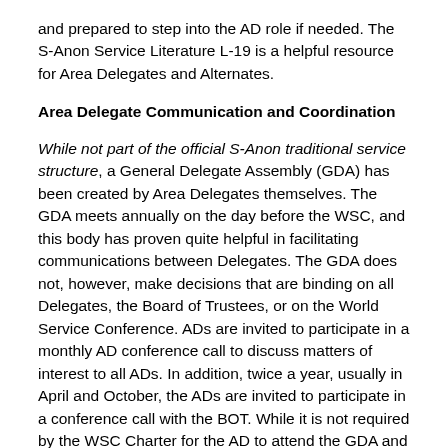and prepared to step into the AD role if needed. The S-Anon Service Literature L-19 is a helpful resource for Area Delegates and Alternates.
Area Delegate Communication and Coordination
While not part of the official S-Anon traditional service structure, a General Delegate Assembly (GDA) has been created by Area Delegates themselves. The GDA meets annually on the day before the WSC, and this body has proven quite helpful in facilitating communications between Delegates. The GDA does not, however, make decisions that are binding on all Delegates, the Board of Trustees, or on the World Service Conference. ADs are invited to participate in a monthly AD conference call to discuss matters of interest to all ADs. In addition, twice a year, usually in April and October, the ADs are invited to participate in a conference call with the BOT. While it is not required by the WSC Charter for the AD to attend the GDA and monthly conference calls, it is strongly encouraged, and may be defined by an Area to be an expected part of AD service in the Area.